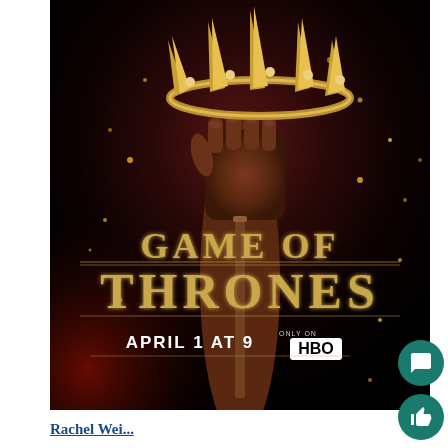[Figure (illustration): Game of Thrones Season 2 promotional poster showing a fist holding a crown (Iron Throne crown) against a dark background, with text 'GAME OF THRONES APRIL 1 AT 9 ONLY ON HBO'. Chat and like buttons visible on the right side.]
Rachel Wei...